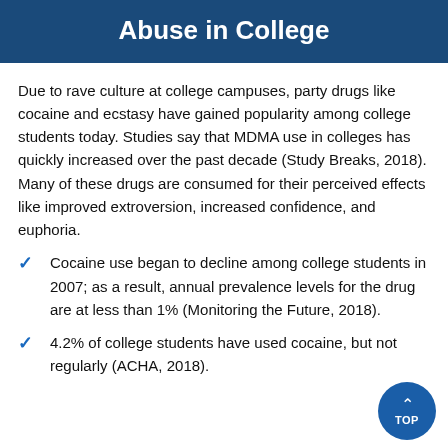Abuse in College
Due to rave culture at college campuses, party drugs like cocaine and ecstasy have gained popularity among college students today. Studies say that MDMA use in colleges has quickly increased over the past decade (Study Breaks, 2018). Many of these drugs are consumed for their perceived effects like improved extroversion, increased confidence, and euphoria.
Cocaine use began to decline among college students in 2007; as a result, annual prevalence levels for the drug are at less than 1% (Monitoring the Future, 2018).
4.2% of college students have used cocaine, but not regularly (ACHA, 2018).